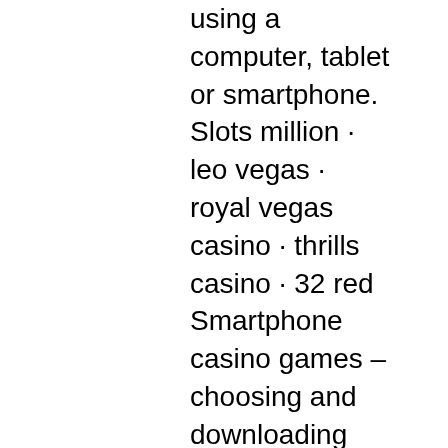using a computer, tablet or smartphone. Slots million · leo vegas · royal vegas casino · thrills casino · 32 red Smartphone casino games – choosing and downloading the very best casino program. Mobile casino is the newest craze in the gambling industry. — you can play winward casino in a mobile casino on your android smartphone, iphone, ipad and other portable devices. Html5 games are designed for. — there are now smartphone and tablet compatible smartphones and tablets, which are capable of connecting to internet casinos. — one of the best achievements in the online casino industry is playing casino games from a smartphone or tablet. Some of the most popular. Play slot machines for free without registration. Online casino with real money no deposit bonus. Foolproof slot machine strategy that will work. — today, more people than ever are gambling from their phone. Most developers now release mobile-